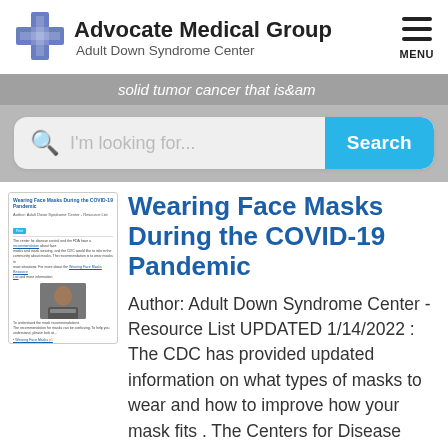Advocate Medical Group Adult Down Syndrome Center
solid tumor cancer that is&am
I'm looking for... Search
[Figure (screenshot): Thumbnail screenshot of the article page showing title, author, a photo of a person wearing a mask, and article text.]
Wearing Face Masks During the COVID-19 Pandemic
Author: Adult Down Syndrome Center - Resource List UPDATED 1/14/2022 : The CDC has provided updated information on what types of masks to wear and how to improve how your mask fits .  The Centers for Disease Control and